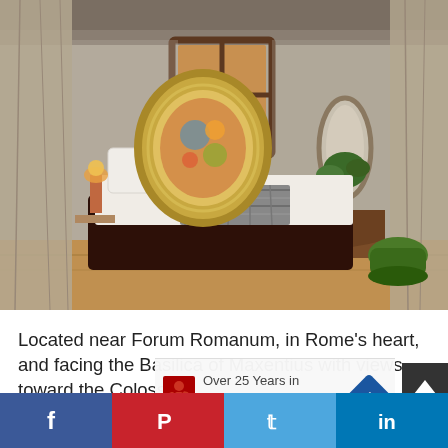[Figure (photo): Luxury hotel bedroom in Rome near Forum Romanum. Room features a large bed with white linens, dark chocolate-colored bed base, decorative circular rattan headboard with colorful mosaic art, two bedside lamps, arched mirror on right wall, dressing table on right, potted plant, large wooden window with four panes in center background, patterned curtains on both sides, worn plaster walls, herringbone wood floor, and a green rope ottoman on the right.]
Located near Forum Romanum, in Rome’s heart, and facing the Basilica of Maxentius with views toward the Colosseum, the Palm Suite is perfectly situated for exploring the ico…
[Figure (screenshot): Advertisement overlay: figure of person with text 'Over 25 Years in Business. On Time and Honest.' with navigation arrow icon.]
[Figure (other): Social media sharing bar with Facebook (blue), Pinterest (red), Twitter (light blue), and LinkedIn (blue) buttons.]